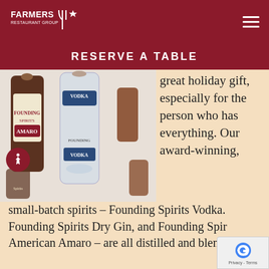FARMERS RESTAURANT GROUP
RESERVE A TABLE
[Figure (photo): Flat-lay photo of multiple Founding Spirits mini bottles including Amaro and Vodka varieties, arranged on a white surface with cork stoppers.]
great holiday gift, especially for the person who has everything. Our award-winning, small-batch spirits – Founding Spirits Vodka. Founding Spirits Dry Gin, and Founding Spirits American Amaro – are all distilled and blended